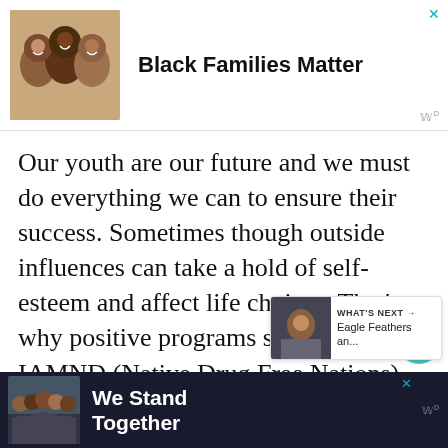[Figure (infographic): Top advertisement banner with photo of group of smiling people lying together, text 'Black Families Matter', close X button, and Moat logo]
Our youth are our future and we must do everything we can to ensure their success. Sometimes though outside influences can take a hold of self-esteem and affect life choices. That's why positive programs such an IAMND (Native Drug Free Nations) out of Oklahoma important in our communities. IAMND's ultimate goal is to bridge the generation communication gap between adults, young adults,
[Figure (infographic): Bottom advertisement banner with photo of group of young people with arms around each other, text 'We Stand Together', close X button, Moat logo]